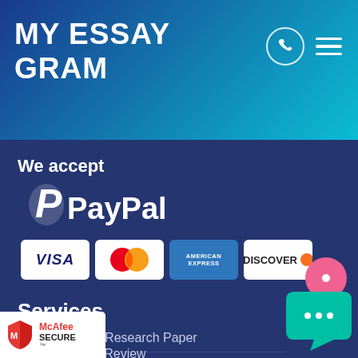MY ESSAY GRAM
[Figure (logo): Phone icon circle and hamburger menu icon in header]
We accept
[Figure (logo): PayPal logo with P symbol and PayPal wordmark]
[Figure (illustration): Payment card logos: VISA, Mastercard, American Express, Discover]
Services
How to Write a Research Paper
Writing a Book Review
Order a Custom Essay
...re For Final Exams
[Figure (logo): McAfee SECURE badge bottom left]
[Figure (illustration): Pink chat bubble icon right side]
[Figure (illustration): Teal chat bubble with ellipsis bottom right]